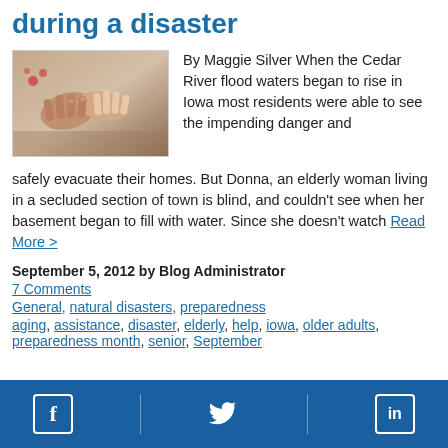during a disaster
[Figure (photo): Two elderly hands being held together, one wrinkled hand holding a younger hand]
By Maggie Silver When the Cedar River flood waters began to rise in Iowa most residents were able to see the impending danger and safely evacuate their homes. But Donna, an elderly woman living in a secluded section of town is blind, and couldn't see when her basement began to fill with water. Since she doesn't watch Read More >
September 5, 2012 by Blog Administrator
7 Comments
General, natural disasters, preparedness
aging, assistance, disaster, elderly, help, iowa, older adults, preparedness month, senior, September
Facebook | Twitter | LinkedIn